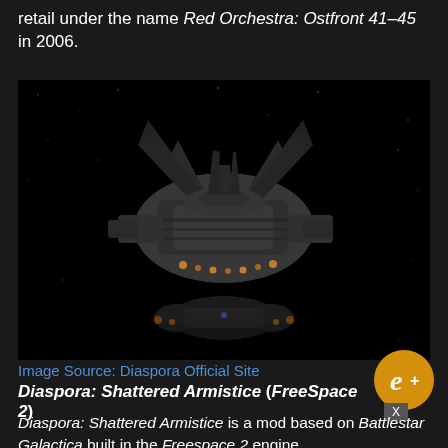retail under the name Red Orchestra: Ostfront 41–45 in 2006.
[Figure (photo): A large spacecraft (Battlestar) viewed from above in space against a dark star-field background, with a smaller spacecraft visible below it. Screenshot from the Diaspora: Shattered Armistice mod.]
Image Source: Diaspora Official Site
Diaspora: Shattered Armistice (FreeSpace 2)
Diaspora: Shattered Armistice is a mod based on Battlestar Galactica built in the Freespace 2 engine.